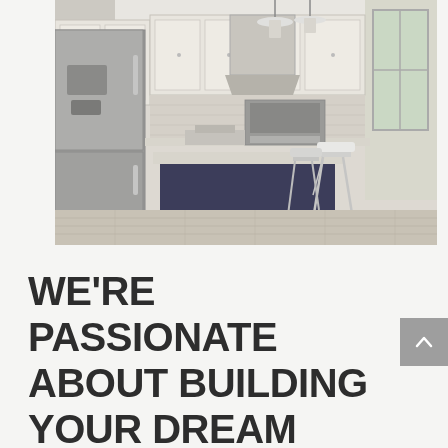[Figure (photo): Interior photo of a modern kitchen with white upper cabinets, dark navy blue kitchen island with white quartz countertop, two white modern bar stools, stainless steel refrigerator on the left, pendant lights hanging from the ceiling, and a range hood above the stove in the background.]
WE'RE PASSIONATE ABOUT BUILDING YOUR DREAM KITCHEN.